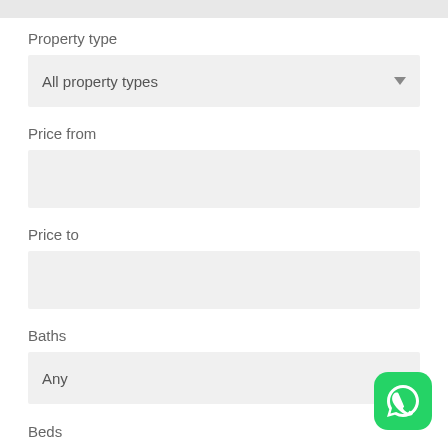Property type
All property types
Price from
Price to
Baths
Any
Beds
[Figure (screenshot): WhatsApp icon button in bottom right corner, green rounded square with white phone/speech bubble logo]